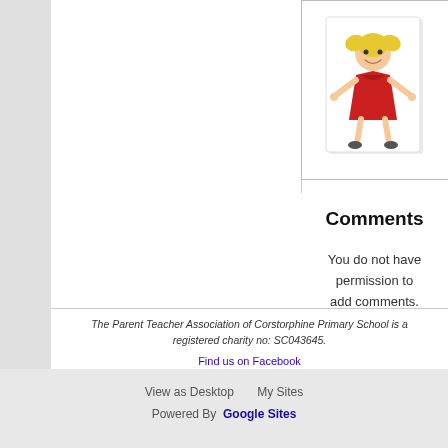[Figure (illustration): Cartoon illustration of a smiling girl with blonde pigtails wearing a red dress, arms outstretched, on a white card background with slight shadow.]
Comments
You do not have permission to add comments.
The Parent Teacher Association of Corstorphine Primary School is a registered charity no: SC043645.
Find us on Facebook
Follow us on Twitter
View as Desktop   My Sites   Powered By Google Sites